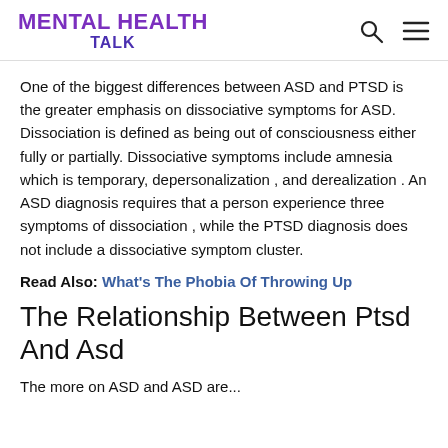MENTAL HEALTH TALK
One of the biggest differences between ASD and PTSD is the greater emphasis on dissociative symptoms for ASD. Dissociation is defined as being out of consciousness either fully or partially. Dissociative symptoms include amnesia which is temporary, depersonalization , and derealization . An ASD diagnosis requires that a person experience three symptoms of dissociation , while the PTSD diagnosis does not include a dissociative symptom cluster.
Read Also: What's The Phobia Of Throwing Up
The Relationship Between Ptsd And Asd
The more on ASD and ASD are...